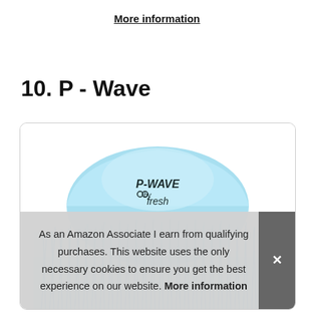More information
10. P - Wave
[Figure (photo): Photo of a P-Wave by fresh urinal screen product — a blue dome-shaped deodorizing screen with spike-like blue bristles on the bottom, branded with 'P-WAVE by fresh' text on the dome.]
As an Amazon Associate I earn from qualifying purchases. This website uses the only necessary cookies to ensure you get the best experience on our website. More information